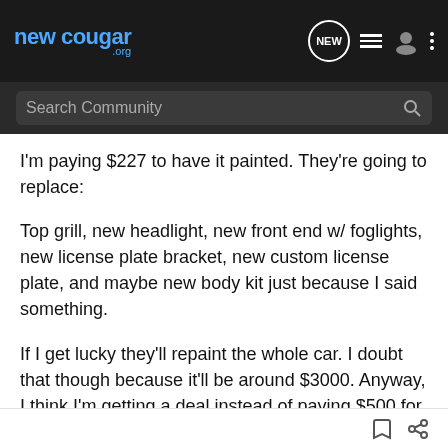newcougar.org
I'm paying $227 to have it painted. They're going to replace:
Top grill, new headlight, new front end w/ foglights, new license plate bracket, new custom license plate, and maybe new body kit just because I said something.
If I get lucky they'll repaint the whole car. I doubt that though because it'll be around $3000. Anyway, I think I'm getting a deal instead of paying $500 for a OEM hood and paint job becaues I was going to get a Kam hood anyway. I figured painting would ONLY be around $200. Boy was I wrong. They quoted me $600 cut down from $850.